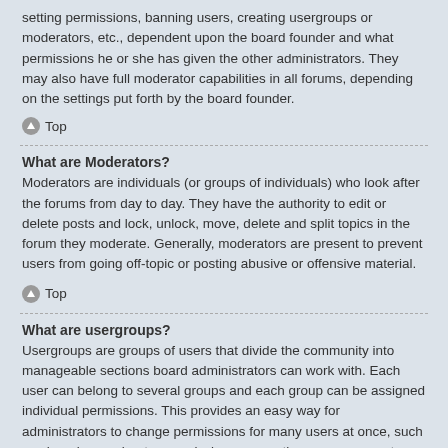setting permissions, banning users, creating usergroups or moderators, etc., dependent upon the board founder and what permissions he or she has given the other administrators. They may also have full moderator capabilities in all forums, depending on the settings put forth by the board founder.
Top
What are Moderators?
Moderators are individuals (or groups of individuals) who look after the forums from day to day. They have the authority to edit or delete posts and lock, unlock, move, delete and split topics in the forum they moderate. Generally, moderators are present to prevent users from going off-topic or posting abusive or offensive material.
Top
What are usergroups?
Usergroups are groups of users that divide the community into manageable sections board administrators can work with. Each user can belong to several groups and each group can be assigned individual permissions. This provides an easy way for administrators to change permissions for many users at once, such as changing moderator permissions or granting users access to a private forum.
Top